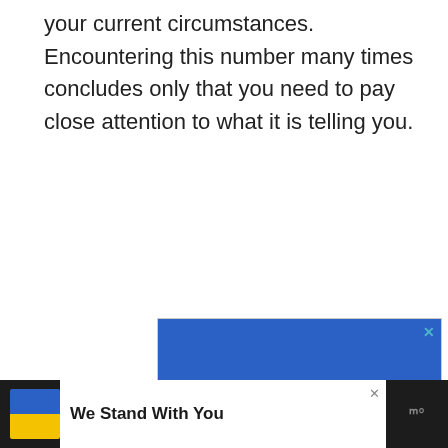your current circumstances. Encountering this number many times concludes only that you need to pay close attention to what it is telling you.
[Figure (illustration): Large advertisement with Ukrainian flag colors (blue top half, yellow bottom half). Blue section shows white bold text 'We Stand' and yellow section shows black bold text 'With You'. Small blue X close button in top right corner.]
[Figure (illustration): Bottom banner advertisement on dark background showing Ukrainian flag icon (blue and yellow squares), bold text 'We Stand With You' in dark color on white/light area, with an X close button and a logo in grey on the right.]